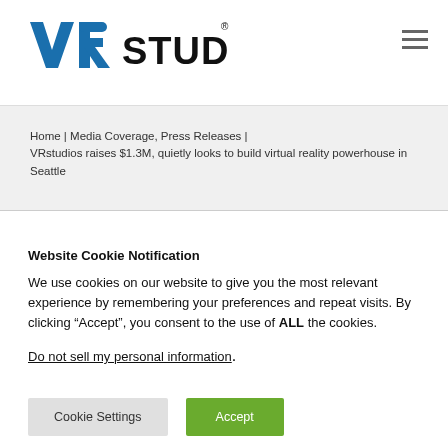[Figure (logo): VRStudios logo with blue VR letters and black STUDIOS text with registered trademark symbol]
Home | Media Coverage, Press Releases | VRstudios raises $1.3M, quietly looks to build virtual reality powerhouse in Seattle
Website Cookie Notification
We use cookies on our website to give you the most relevant experience by remembering your preferences and repeat visits. By clicking “Accept”, you consent to the use of ALL the cookies.
Do not sell my personal information.
Cookie Settings  Accept